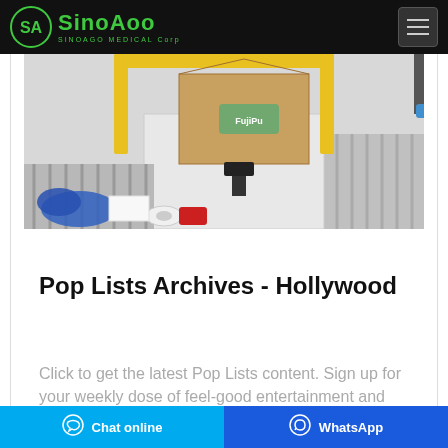SinoAgo Medical Corp
[Figure (photo): Industrial packaging/assembly line equipment: a box sealing machine with cardboard boxes on a conveyor belt; blue gloves, tape roll, and red container visible in the foreground.]
Pop Lists Archives - Hollywood
Click to get the latest Pop Lists content. Sign up for your weekly dose of feel-good entertainment and movie content!
Chat online   WhatsApp